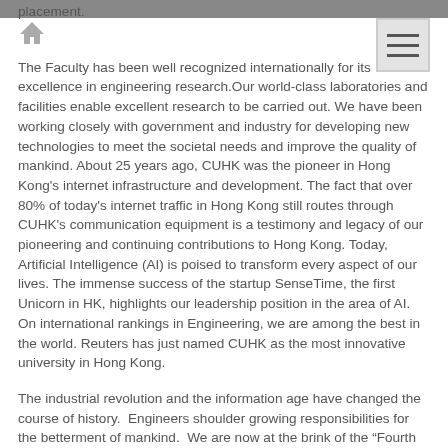placement.
The Faculty has been well recognized internationally for its excellence in engineering research.Our world-class laboratories and facilities enable excellent research to be carried out. We have been working closely with government and industry for developing new technologies to meet the societal needs and improve the quality of mankind. About 25 years ago, CUHK was the pioneer in Hong Kong's internet infrastructure and development. The fact that over 80% of today's internet traffic in Hong Kong still routes through CUHK's communication equipment is a testimony and legacy of our pioneering and continuing contributions to Hong Kong. Today, Artificial Intelligence (AI) is poised to transform every aspect of our lives. The immense success of the startup SenseTime, the first Unicorn in HK, highlights our leadership position in the area of AI. On international rankings in Engineering, we are among the best in the world. Reuters has just named CUHK as the most innovative university in Hong Kong.
The industrial revolution and the information age have changed the course of history.  Engineers shoulder growing responsibilities for the betterment of mankind.  We are now at the brink of the “Fourth Industrial Revolution”, fusing the